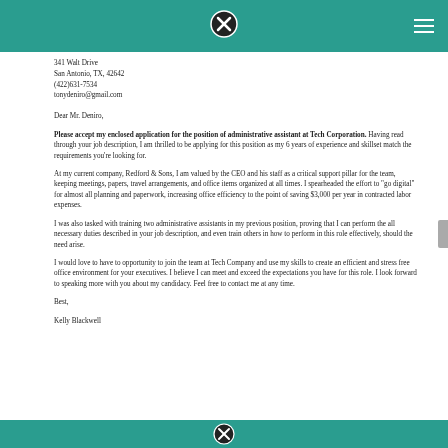341 Walt Drive
San Antonio, TX, 42642
(422)631-7534
tonydeniro@gmail.com
Dear Mr. Deniro,
Please accept my enclosed application for the position of administrative assistant at Tech Corporation. Having read through your job description, I am thrilled to be applying for this position as my 6 years of experience and skillset match the requirements you're looking for.
At my current company, Redford & Sons, I am valued by the CEO and his staff as a critical support pillar for the team, keeping meetings, papers, travel arrangements, and office items organized at all times. I spearheaded the effort to "go digital" for almost all planning and paperwork, increasing office efficiency to the point of saving $3,000 per year in contracted labor expenses.
I was also tasked with training two administrative assistants in my previous position, proving that I can perform the all necessary duties described in your job description, and even train others in how to perform in this role effectively, should the need arise.
I would love to have to opportunity to join the team at Tech Company and use my skills to create an efficient and stress free office environment for your executives. I believe I can meet and exceed the expectations you have for this role. I look forward to speaking more with you about my candidacy. Feel free to contact me at any time.
Best,
Kelly Blackwell